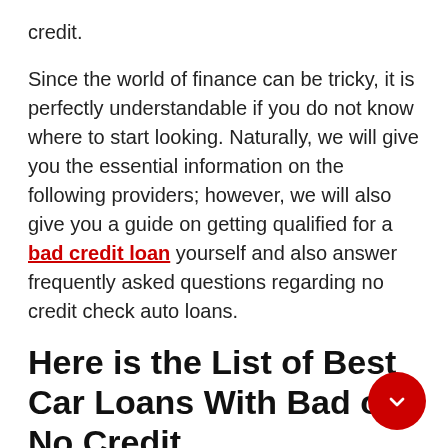credit.
Since the world of finance can be tricky, it is perfectly understandable if you do not know where to start looking. Naturally, we will give you the essential information on the following providers; however, we will also give you a guide on getting qualified for a bad credit loan yourself and also answer frequently asked questions regarding no credit check auto loans.
Here is the List of Best Car Loans With Bad or No Credit
Auto Credit Express — Best Overall for Car Loans.